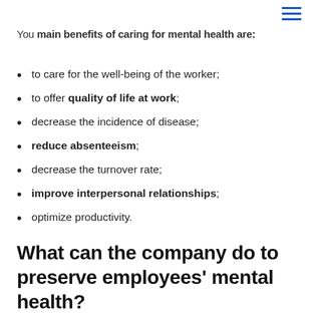≡
You main benefits of caring for mental health are:
to care for the well-being of the worker;
to offer quality of life at work;
decrease the incidence of disease;
reduce absenteeism;
decrease the turnover rate;
improve interpersonal relationships;
optimize productivity.
What can the company do to preserve employees' mental health?